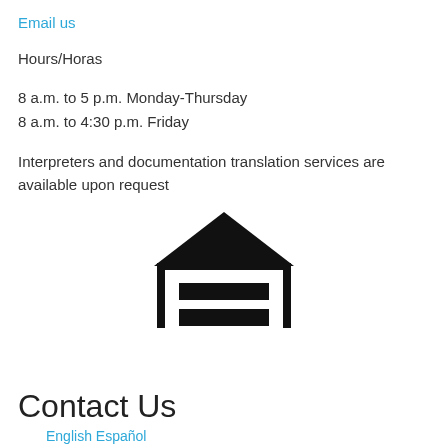Email us
Hours/Horas
8 a.m. to 5 p.m. Monday-Thursday
8 a.m. to 4:30 p.m. Friday
Interpreters and documentation translation services are available upon request
[Figure (logo): Equal Housing Opportunity logo — a house outline with an equals sign inside, with text 'EQUAL HOUSING OPPORTUNITY' below]
Contact Us
English Español